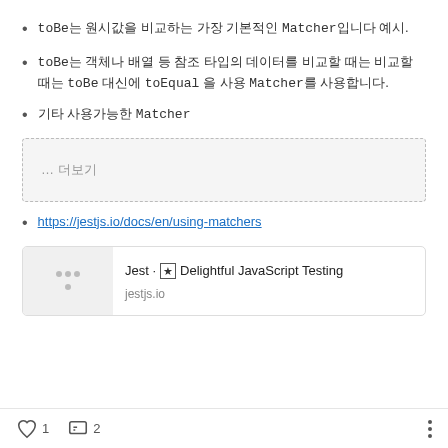toBe는 원시값을 비교하는 가장 기본적인 Matcher입니다 예시.
toBe는 객체나 배열 등 참조 타입의 데이터를 비교할 때는 toBe 대신에 toEqual 을 사용 Matcher를 사용합니다.
기타 사용가능한 Matcher
[Figure (screenshot): Collapsed/expandable content box showing '… 더보기' (see more) button]
https://jestjs.io/docs/en/using-matchers
[Figure (screenshot): Link preview card for jestjs.io: title 'Jest · ★ Delightful JavaScript Testing', domain 'jestjs.io']
1 like, 2 comments